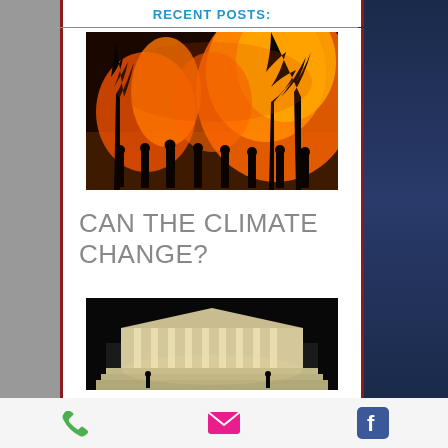Recent Posts:
[Figure (photo): Wildfire scene with firefighters silhouetted against massive orange flames burning trees at night]
CAN THE CLIMATE CHANGE?
[Figure (photo): Supreme Court building illuminated at night with white columns against dark sky]
Phone | Email | Facebook icons toolbar